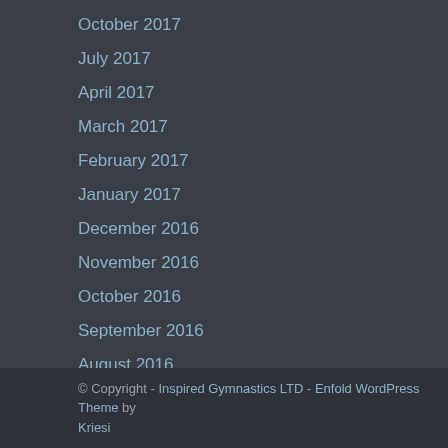October 2017
July 2017
April 2017
March 2017
February 2017
January 2017
December 2016
November 2016
October 2016
September 2016
August 2016
© Copyright - Inspired Gymnastics LTD - Enfold WordPress Theme by Kriesi